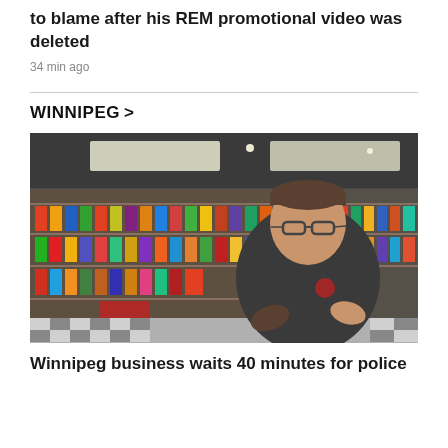to blame after his REM promotional video was deleted
34 min ago
WINNIPEG >
[Figure (photo): A man in a dark polo shirt with glasses gestures with his hands while standing in a convenience store with shelves full of products behind him.]
Winnipeg business waits 40 minutes for police